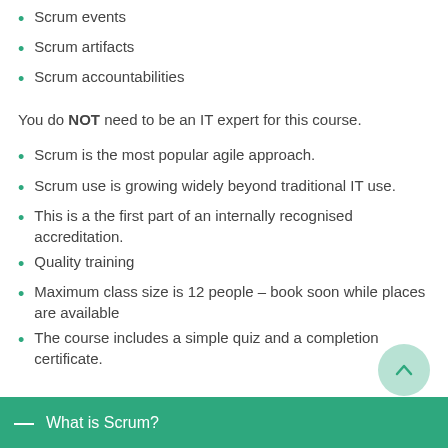Scrum events
Scrum artifacts
Scrum accountabilities
You do NOT need to be an IT expert for this course.
Scrum is the most popular agile approach.
Scrum use is growing widely beyond traditional IT use.
This is a the first part of an internally recognised accreditation.
Quality training
Maximum class size is 12 people – book soon while places are available
The course includes a simple quiz and a completion certificate.
What is Scrum?